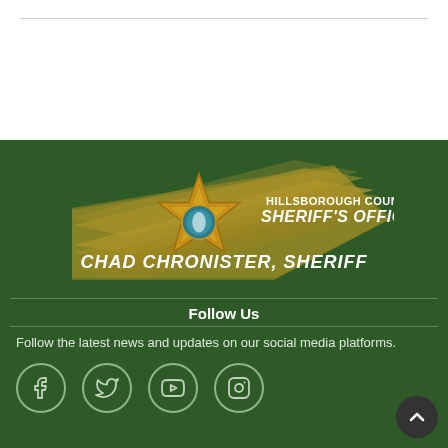[Figure (logo): Hillsborough County Sheriff's Office logo with badge and swoosh design, text: HILLSBOROUGH COUNTY SHERIFF'S OFFICE, CHAD CHRONISTER, SHERIFF]
Follow Us
Follow the latest news and updates on our social media platforms.
[Figure (infographic): Social media icons: Facebook, Twitter, YouTube, Instagram in circular outlines]